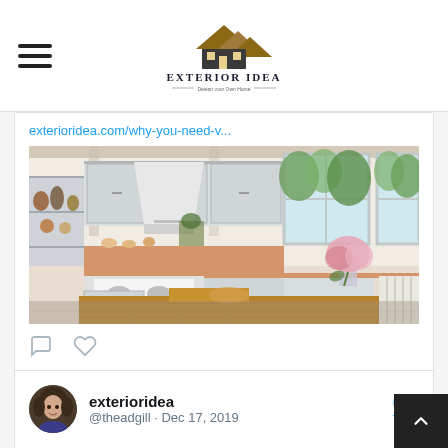Exterior Idea — Design your Own Home
exterioridea.com/why-you-need-v...
[Figure (photo): Interior photo of a modern farmhouse kitchen with white cabinets, a large range hood, wooden island/dining table, flower bouquet, open shelving with cooking items, and windows with green foliage outside]
exterioridea @theadgill · Dec 17, 2019
Despite how annoying and stressful this can be, there is no way around it, and it